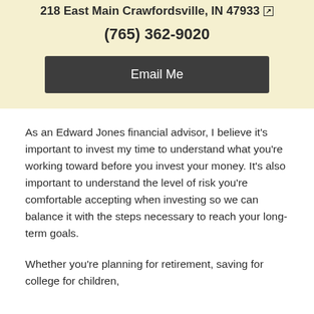218 East Main Crawfordsville, IN 47933
(765) 362-9020
Email Me
As an Edward Jones financial advisor, I believe it's important to invest my time to understand what you're working toward before you invest your money. It's also important to understand the level of risk you're comfortable accepting when investing so we can balance it with the steps necessary to reach your long-term goals.
Whether you're planning for retirement, saving for college for children, orChildEr...